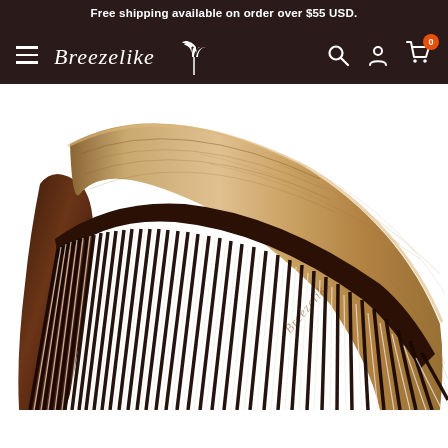Free shipping available on order over $55 USD.
[Figure (logo): Breezelike brand logo with script text and leaf/palm icon in white on dark brown background, with hamburger menu, search icon, account icon, and cart icon with badge showing 0]
[Figure (photo): Close-up product photo of a wooden hair comb with dark horn-like teeth, showing natural wood grain texture with the Breezelike brand name engraved, on white background]